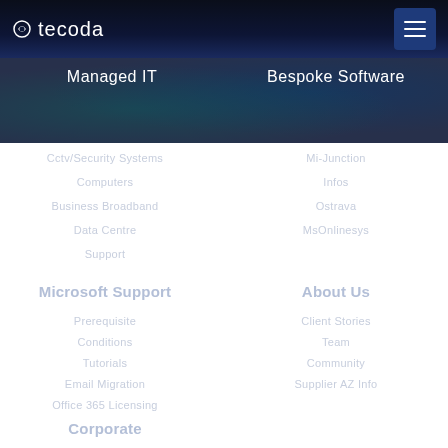tecoda
Managed IT
Bespoke Software
Cctv/Security Systems
Mi-Junction
Computers
Infos
Business Broadband
Ostrava
Data Centre
MsOnlinesys
Support
Microsoft Support
About Us
Prerequisite
Client Stories
Conditions
Team
Tutorials
Community
Email Migration
Supplier AZ Info
Office 365 Licensing
Corporate